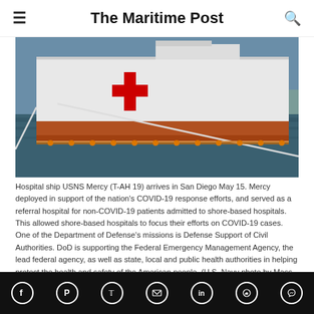The Maritime Post
[Figure (photo): Hospital ship USNS Mercy (T-AH 19) docked at port, showing the ship's white hull with a large red cross marking, moored with ropes at a waterfront.]
Hospital ship USNS Mercy (T-AH 19) arrives in San Diego May 15. Mercy deployed in support of the nation’s COVID-19 response efforts, and served as a referral hospital for non-COVID-19 patients admitted to shore-based hospitals. This allowed shore-based hospitals to focus their efforts on COVID-19 cases. One of the Department of Defense’s missions is Defense Support of Civil Authorities. DoD is supporting the Federal Emergency Management Agency, the lead federal agency, as well as state, local and public health authorities in helping protect the health and safety of the American people. (U.S. Navy photo by Mass Communication Specialist 3rd Class Tim Hoang)
Social share icons: Facebook, Pinterest, Twitter, Email, LinkedIn, WhatsApp, Messenger